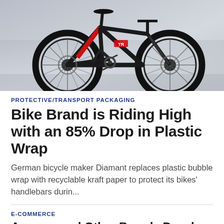[Figure (photo): A black and red Trek full-suspension mountain bike photographed against a white wall background]
PROTECTIVE/TRANSPORT PACKAGING
Bike Brand is Riding High with an 85% Drop in Plastic Wrap
German bicycle maker Diamant replaces plastic bubble wrap with recyclable kraft paper to protect its bikes' handlebars durin...
E-COMMERCE
Amazon and Other Brands Develop Innovative E-Commerce Packaging...